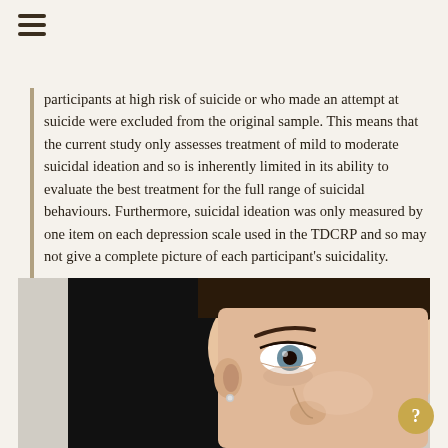participants at high risk of suicide or who made an attempt at suicide were excluded from the original sample. This means that the current study only assesses treatment of mild to moderate suicidal ideation and so is inherently limited in its ability to evaluate the best treatment for the full range of suicidal behaviours. Furthermore, suicidal ideation was only measured by one item on each depression scale used in the TDCRP and so may not give a complete picture of each participant's suicidality.
This study contributes a little to increasing the understanding of the best treatment for reducing suicidal ideation, but further research is needed to clarify this relationship.
[Figure (photo): Close-up photograph of a woman's face, showing her eye, ear with a small stud earring, and part of her nose. The background is split between dark black on the left and light grey on the right.]